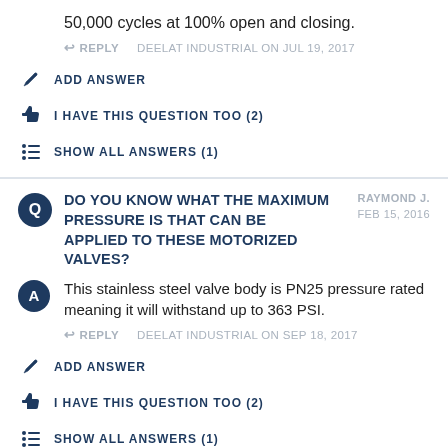50,000 cycles at 100% open and closing.
REPLY   DEELAT INDUSTRIAL ON JUL 19, 2017
ADD ANSWER
I HAVE THIS QUESTION TOO (2)
SHOW ALL ANSWERS (1)
RAYMOND J. FEB 15, 2016
DO YOU KNOW WHAT THE MAXIMUM PRESSURE IS THAT CAN BE APPLIED TO THESE MOTORIZED VALVES?
This stainless steel valve body is PN25 pressure rated meaning it will withstand up to 363 PSI.
REPLY   DEELAT INDUSTRIAL ON SEP 18, 2017
ADD ANSWER
I HAVE THIS QUESTION TOO (2)
SHOW ALL ANSWERS (1)